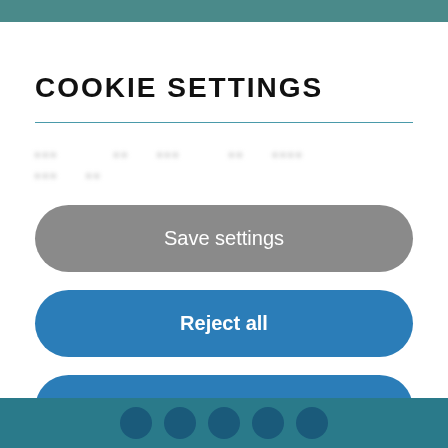COOKIE SETTINGS
… … … … … … … … … … … …
Save settings
Reject all
Allow all